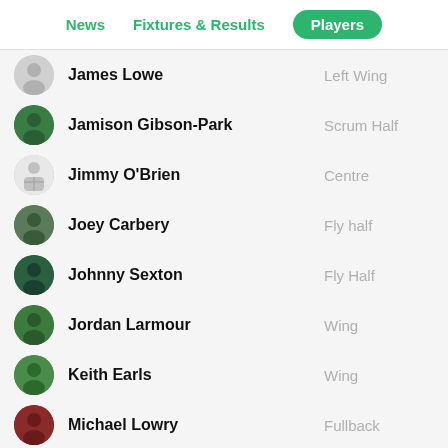News | Fixtures & Results | Players
James Lowe — Left Wing
Jamison Gibson-Park — Scrum Half
Jimmy O'Brien — Centre
Joey Carbery — Fly half
Johnny Sexton — Fly Half
Jordan Larmour — Wing
Keith Earls — Wing
Michael Lowry — Fullback
Robbie Henshaw — Centre
Robert Baloucoune — Wing
Simon Westraadt
Stuart McCloskey — Centre